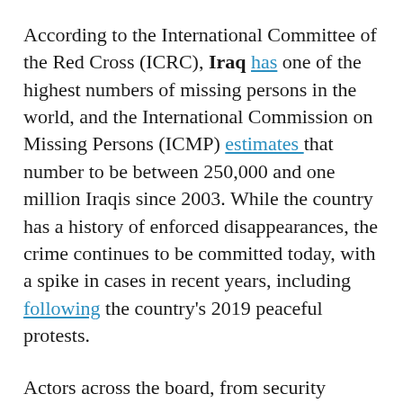According to the International Committee of the Red Cross (ICRC), Iraq has one of the highest numbers of missing persons in the world, and the International Commission on Missing Persons (ICMP) estimates that number to be between 250,000 and one million Iraqis since 2003. While the country has a history of enforced disappearances, the crime continues to be committed today, with a spike in cases in recent years, including following the country's 2019 peaceful protests.
Actors across the board, from security officials affiliated with the Iraqi state to non-state actors such as Al-Qaeda, ISIS, and other armed groups, have been accused of being responsible for practices tantamount to enforced disappearances in recent years. The UN Committee on Enforced Disappearances has received allegations about 420 places of secret detention, which often serve as sites